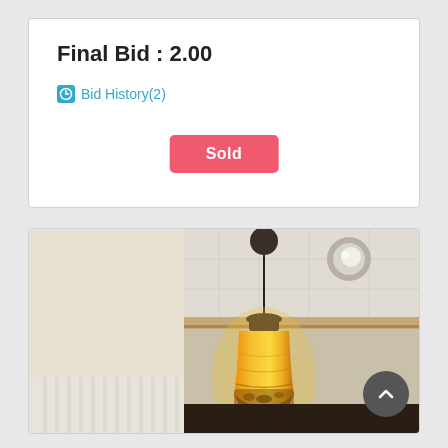Final Bid : 2.00
Bid History(2)
Sold
[Figure (photo): A pendant lamp with an amber/yellow glass shade hanging from a ceiling, with a recessed light visible in the background. Decorative crown molding and paneled walls visible.]